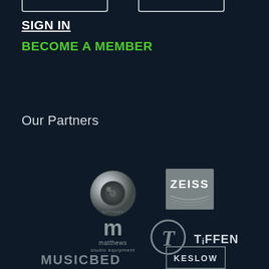[Figure (other): Two partially visible rounded rectangular button outlines at the top of the page]
SIGN IN
BECOME A MEMBER
Our Partners
[Figure (logo): Round silver metallic ball logo for Matthews Studio Equipment]
[Figure (logo): ZEISS logo in white text on gray/silver rectangular box with arc element]
[Figure (logo): Matthews studio equipment logo with stylized m and text]
[Figure (logo): Tiffen logo with circular T emblem and TIFFEN text]
[Figure (logo): MUSICBED partial text logo at bottom]
[Figure (logo): KESLOW partial logo in rectangular border at bottom right]